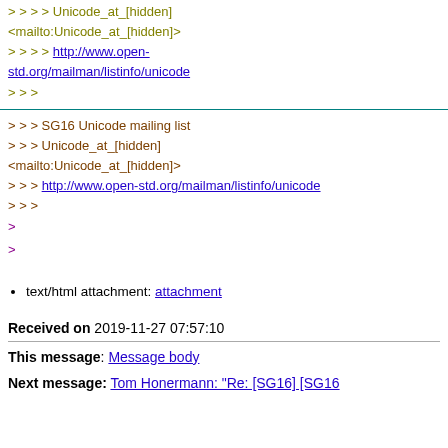> > > > Unicode_at_[hidden] <mailto:Unicode_at_[hidden]>
> > > > http://www.open-std.org/mailman/listinfo/unicode
> > >
> > > SG16 Unicode mailing list
> > > Unicode_at_[hidden] <mailto:Unicode_at_[hidden]>
> > > http://www.open-std.org/mailman/listinfo/unicode
> > >
>
>
text/html attachment: attachment
Received on 2019-11-27 07:57:10
This message: Message body
Next message: Tom Honermann: "Re: [SG16] [SG16